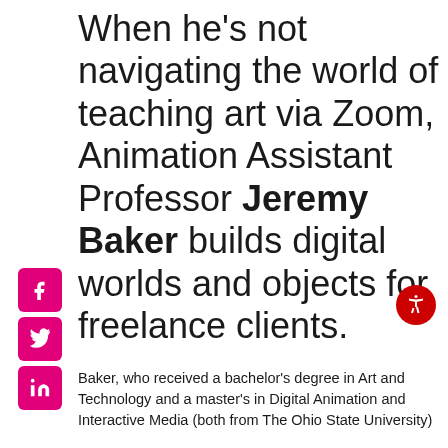When he's not navigating the world of teaching art via Zoom, Animation Assistant Professor Jeremy Baker builds digital worlds and objects for freelance clients.
[Figure (infographic): Social media icons: Facebook, Twitter, LinkedIn (pink/magenta squares with white icons) and a red accessibility icon button on the right]
Baker, who received a bachelor's degree in Art and Technology and a master's in Digital Animation and Interactive Media (both from The Ohio State University)